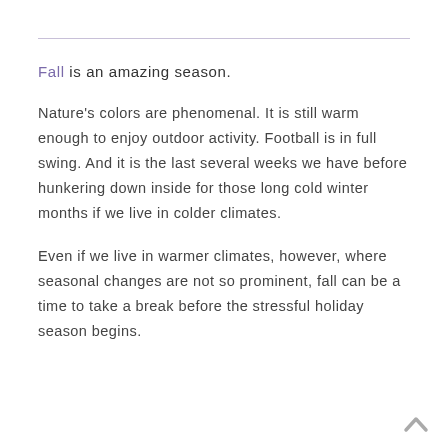Fall is an amazing season.
Nature's colors are phenomenal. It is still warm enough to enjoy outdoor activity. Football is in full swing. And it is the last several weeks we have before hunkering down inside for those long cold winter months if we live in colder climates.
Even if we live in warmer climates, however, where seasonal changes are not so prominent, fall can be a time to take a break before the stressful holiday season begins.